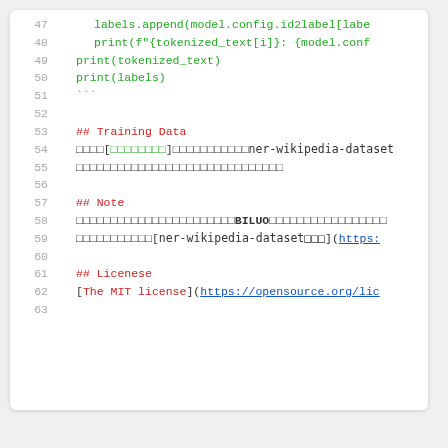Code block showing lines 47-63 of a Python/Markdown file with training data, note, and license sections
47     labels.append(model.config.id2label[labe
48     print(f"{tokenized_text[i]}: {model.conf
49 print(tokenized_text)
50 print(labels)
51 ```
52 (blank)
53 ## Training Data
54 □□□□[□□□□□□□□]□□□□□□□□□□□ner-wikipedia-dataset
55 □□□□□□□□□□□□□□□□□□□□□□□□□□□□
56 (blank)
57 ## Note
58 □□□□□□□□□□□□□□□□□□□□□□□BILUO□□□□□□□□□□□□□□□□
59 □□□□□□□□□□[ner-wikipedia-dataset□□□](https:
60 (blank)
61 ## Licenese
62 [The MIT license](https://opensource.org/lic
63 (blank)